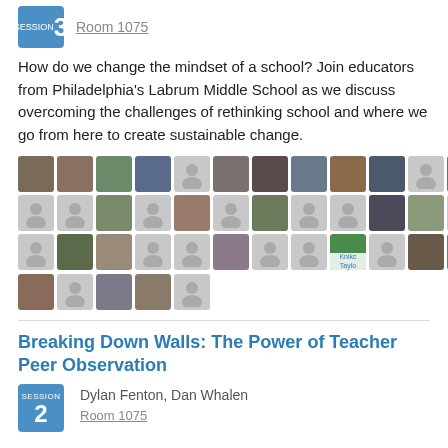Room 1075
How do we change the mindset of a school? Join educators from Philadelphia's Labrum Middle School as we discuss overcoming the challenges of rethinking school and where we go from here to create sustainable change.
[Figure (photo): Grid of participant profile photos and avatar silhouettes arranged in four rows]
Breaking Down Walls: The Power of Teacher Peer Observation
Dylan Fenton, Dan Whalen
Room 1075